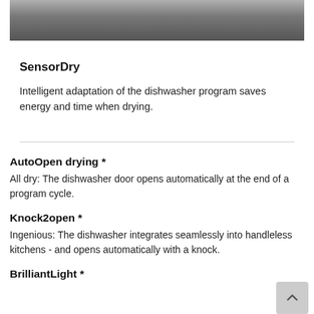[Figure (photo): Partial photo of kitchen items, black and white, showing dishes or utensils on a counter]
SensorDry
Intelligent adaptation of the dishwasher program saves energy and time when drying.
AutoOpen drying *
All dry: The dishwasher door opens automatically at the end of a program cycle.
Knock2open *
Ingenious: The dishwasher integrates seamlessly into handleless kitchens - and opens automatically with a knock.
BrilliantLight *